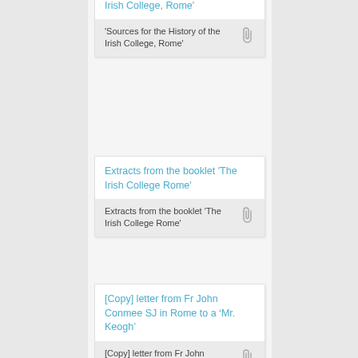'Sources for the History of the Irish College, Rome'
Extracts from the booklet 'The Irish College Rome'
[Copy] letter from Fr John Conmee SJ in Rome to a ‘Mr. Keogh’
Letter from Fr Gerard Bo...